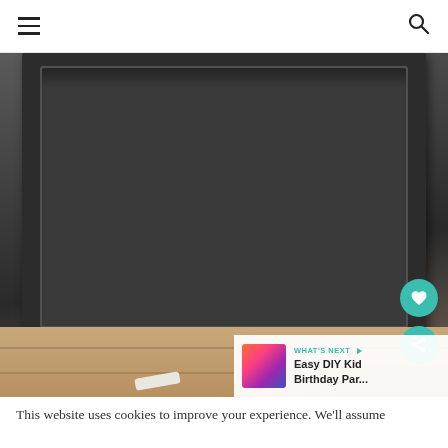Navigation header with hamburger menu and search icon
[Figure (photo): A dark non-stick rectangular baking/loaf pan viewed from above at slight angle, sitting on a rustic wooden table surface with chalk pieces visible in the background. The pan is dark charcoal/graphite colored with a classic rectangular shape and inner rim detail.]
[Figure (infographic): What's Next banner overlay in bottom-right corner of photo with teal label reading 'WHAT'S NEXT ->' and text 'Easy DIY Kid Birthday Par...' with colorful thumbnail image]
This website uses cookies to improve your experience. We'll assume
[Figure (screenshot): Advertisement bar with dark navy background and white bold text reading 'SHE CAN STEM' with a close/dismiss button area on the right showing an X and 'w' watermark logo]